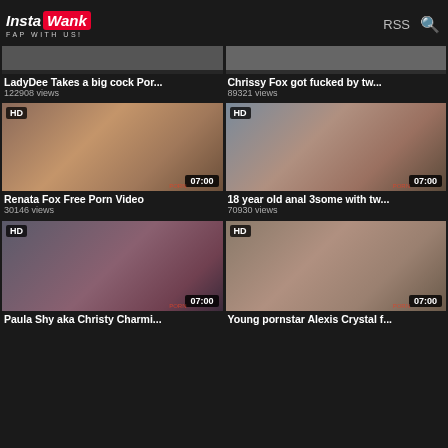InstaWank FAP WITH US! RSS
LadyDee Takes a big cock Por... 122908 views
Chrissy Fox got fucked by tw... 89321 views
[Figure (photo): HD thumbnail of Renata Fox Free Porn Video, duration 07:00]
Renata Fox Free Porn Video
30146 views
[Figure (photo): HD thumbnail of 18 year old anal 3some with tw..., duration 07:00]
18 year old anal 3some with tw...
70930 views
[Figure (photo): HD thumbnail of Paula Shy aka Christy Charmi... duration 07:00]
Paula Shy aka Christy Charmi...
[Figure (photo): HD thumbnail of Young pornstar Alexis Crystal f... duration 07:00]
Young pornstar Alexis Crystal f...